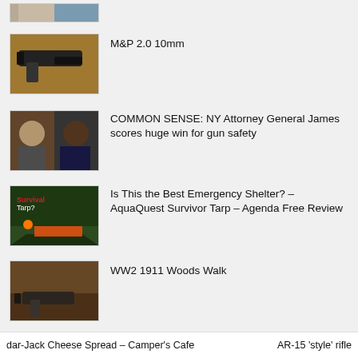[Figure (photo): Partial thumbnail of two people, cropped at top]
M&P 2.0 10mm
COMMON SENSE: NY Attorney General James scores huge win for gun safety
Is This the Best Emergency Shelter? – AquaQuest Survivor Tarp – Agenda Free Review
WW2 1911 Woods Walk
dar-Jack Cheese Spread – Camper's Cafe     AR-15 'style' rifle